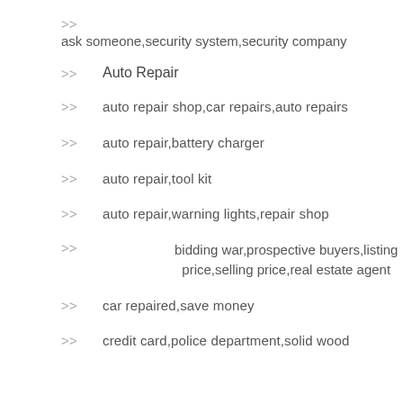>> ask someone,security system,security company
>> Auto Repair
>> auto repair shop,car repairs,auto repairs
>> auto repair,battery charger
>> auto repair,tool kit
>> auto repair,warning lights,repair shop
>> bidding war,prospective buyers,listing price,selling price,real estate agent
>> car repaired,save money
>> credit card,police department,solid wood